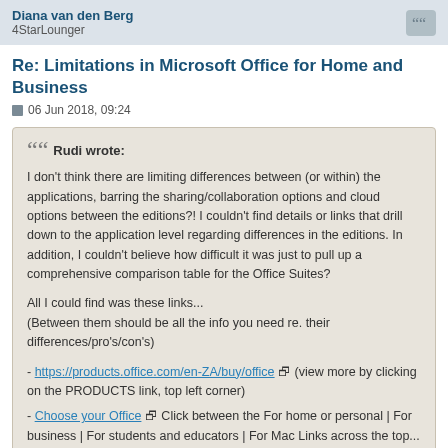Diana van den Berg
4StarLounger
Re: Limitations in Microsoft Office for Home and Business
06 Jun 2018, 09:24
Rudi wrote:

I don't think there are limiting differences between (or within) the applications, barring the sharing/collaboration options and cloud options between the editions?! I couldn't find details or links that drill down to the application level regarding differences in the editions. In addition, I couldn't believe how difficult it was just to pull up a comprehensive comparison table for the Office Suites?

All I could find was these links...
(Between them should be all the info you need re. their differences/pro's/con's)

- https://products.office.com/en-ZA/buy/office (view more by clicking on the PRODUCTS link, top left corner)
- Choose your Office Click between the For home or personal | For business | For students and educators | For Mac Links across the top...